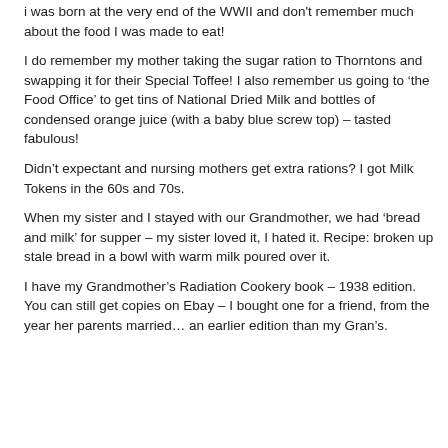i was born at the very end of the WWII and don't remember much about the food I was made to eat!
I do remember my mother taking the sugar ration to Thorntons and swapping it for their Special Toffee! I also remember us going to 'the Food Office' to get tins of National Dried Milk and bottles of condensed orange juice (with a baby blue screw top) – tasted fabulous!
Didn't expectant and nursing mothers get extra rations? I got Milk Tokens in the 60s and 70s.
When my sister and I stayed with our Grandmother, we had 'bread and milk' for supper – my sister loved it, I hated it. Recipe: broken up stale bread in a bowl with warm milk poured over it.
I have my Grandmother's Radiation Cookery book – 1938 edition. You can still get copies on Ebay – I bought one for a friend, from the year her parents married… an earlier edition than my Gran's.